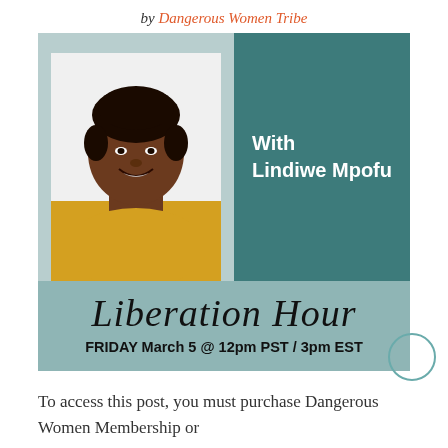by Dangerous Women Tribe
[Figure (infographic): Promotional card for Liberation Hour event. Top half shows a dark teal panel with a portrait photo of Lindiwe Mpofu on the left and 'With Lindiwe Mpofu' text on the right. Bottom muted teal panel shows 'Liberation Hour' in script font and 'FRIDAY March 5 @ 12pm PST / 3pm EST' in bold.]
To access this post, you must purchase Dangerous Women Membership or